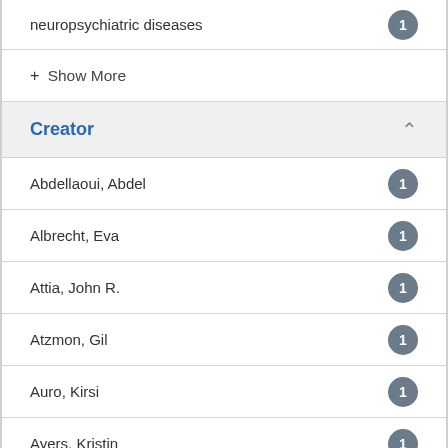neuropsychiatric diseases 1
+ Show More
Creator
Abdellaoui, Abdel 1
Albrecht, Eva 1
Attia, John R. 1
Atzmon, Gil 1
Auro, Kirsi 1
Ayers, Kristin 1
BIOS Consortium 1
Bacelis, Jonas 1